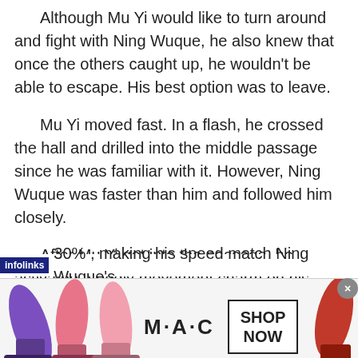Although Mu Yi would like to turn around and fight with Ning Wuque, he also knew that once the others caught up, he wouldn't be able to escape. His best option was to leave.
Mu Yi moved fast. In a flash, he crossed the hall and drilled into the middle passage since he was familiar with it. However, Ning Wuque was faster than him and followed him closely.
After Mu Yi got into the passage, he activated a godly movement charm on his body. His speed 30% , making his speed match Ning Wuque's.
[Figure (photo): MAC cosmetics advertisement banner showing lipsticks on left and right sides, MAC logo in center, and a 'SHOP NOW' button]